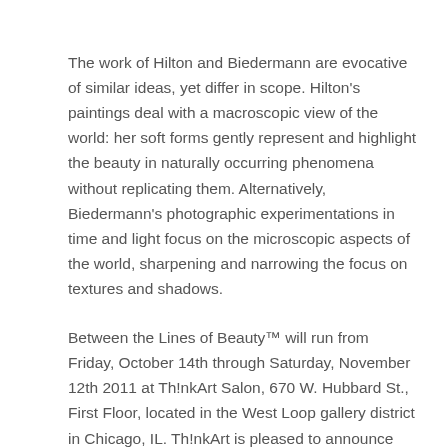The work of Hilton and Biedermann are evocative of similar ideas, yet differ in scope. Hilton's paintings deal with a macroscopic view of the world: her soft forms gently represent and highlight the beauty in naturally occurring phenomena without replicating them. Alternatively, Biedermann's photographic experimentations in time and light focus on the microscopic aspects of the world, sharpening and narrowing the focus on textures and shadows.
Between the Lines of Beauty™ will run from Friday, October 14th through Saturday, November 12th 2011 at Th!nkArt Salon, 670 W. Hubbard St., First Floor, located in the West Loop gallery district in Chicago, IL. Th!nkArt is pleased to announce that the artists will be present at the opening reception.